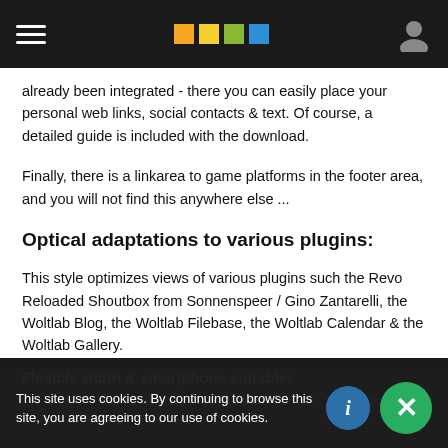[Navigation bar with hamburger menu, colored logo squares (orange, yellow, green, blue), and user icon]
already been integrated - there you can easily place your personal web links, social contacts & text. Of course, a detailed guide is included with the download.
Finally, there is a linkarea to game platforms in the footer area, and you will not find this anywhere else ...
Optical adaptations to various plugins:
This style optimizes views of various plugins such the Revo Reloaded Shoutbox from Sonnenspeer / Gino Zantarelli, the Woltlab Blog, the Woltlab Filebase, the Woltlab Calendar & the Woltlab Gallery.
Flexible width & smartphone suitable:
adapts to smaller monitors, tablets and smartphones for
This site uses cookies. By continuing to browse this site, you are agreeing to our use of cookies.